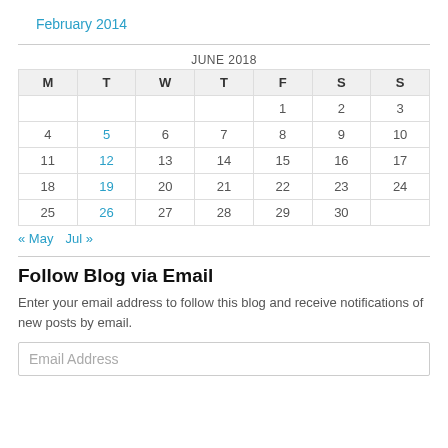February 2014
| M | T | W | T | F | S | S |
| --- | --- | --- | --- | --- | --- | --- |
|  |  |  |  | 1 | 2 | 3 |
| 4 | 5 | 6 | 7 | 8 | 9 | 10 |
| 11 | 12 | 13 | 14 | 15 | 16 | 17 |
| 18 | 19 | 20 | 21 | 22 | 23 | 24 |
| 25 | 26 | 27 | 28 | 29 | 30 |  |
« May   Jul »
Follow Blog via Email
Enter your email address to follow this blog and receive notifications of new posts by email.
Email Address